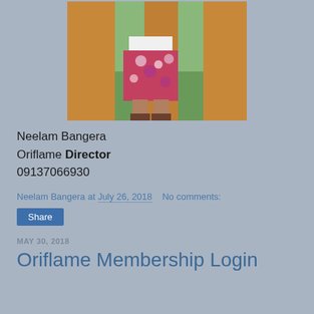[Figure (photo): Photo of a person in a floral skirt standing between wooden posts/poles on grass]
Neelam Bangera
Oriflame Director
09137066930
Neelam Bangera at July 26, 2018   No comments:
Share
MAY 30, 2018
Oriflame Membership Login